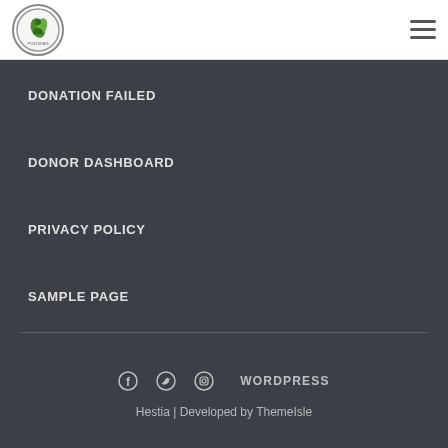[Figure (logo): Circular logo with leaf/person icon and text PCISTUDIES]
[Figure (other): Hamburger menu icon (three horizontal lines)]
DONATION FAILED
DONOR DASHBOARD
PRIVACY POLICY
SAMPLE PAGE
Facebook Twitter Instagram WORDPRESS
Hestia | Developed by ThemeIsle